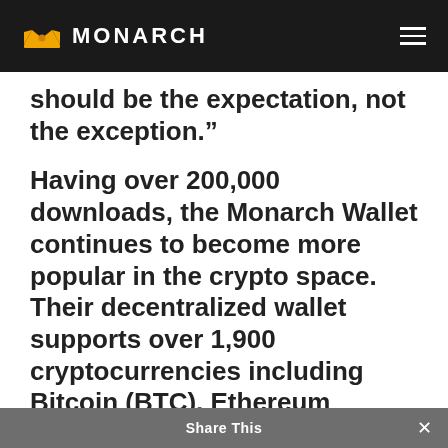MONARCH
should be the expectation, not the exception.”
Having over 200,000 downloads, the Monarch Wallet continues to become more popular in the crypto space. Their decentralized wallet supports over 1,900 cryptocurrencies including Bitcoin (BTC), Ethereum
Share This